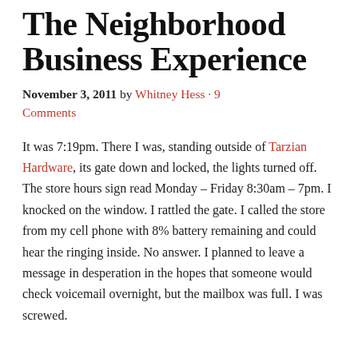The Neighborhood Business Experience
November 3, 2011 by Whitney Hess · 9 Comments
It was 7:19pm. There I was, standing outside of Tarzian Hardware, its gate down and locked, the lights turned off. The store hours sign read Monday – Friday 8:30am – 7pm. I knocked on the window. I rattled the gate. I called the store from my cell phone with 8% battery remaining and could hear the ringing inside. No answer. I planned to leave a message in desperation in the hopes that someone would check voicemail overnight, but the mailbox was full. I was screwed.